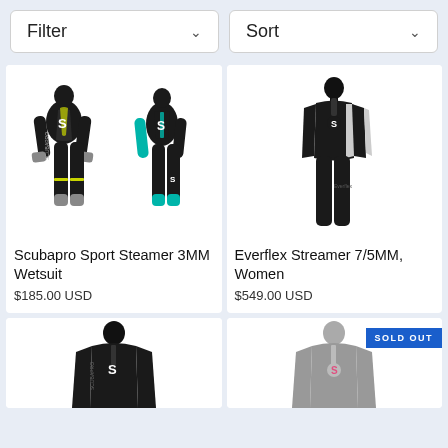[Figure (screenshot): Filter and Sort dropdown buttons at the top of a product listing page]
[Figure (photo): Scubapro Sport Steamer 3MM Wetsuit — two wetsuits shown, one male (black/yellow) and one female (black/teal)]
Scubapro Sport Steamer 3MM Wetsuit
$185.00 USD
[Figure (photo): Everflex Streamer 7/5MM Women's wetsuit — female figure in black/grey wetsuit]
Everflex Streamer 7/5MM, Women
$549.00 USD
[Figure (photo): Partial view of a black wetsuit (male)]
[Figure (photo): Partial view of a grey wetsuit with SOLD OUT badge]